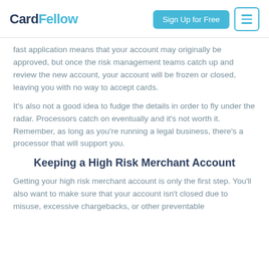CardFellow | Sign Up for Free
fast application means that your account may originally be approved, but once the risk management teams catch up and review the new account, your account will be frozen or closed, leaving you with no way to accept cards.
It’s also not a good idea to fudge the details in order to fly under the radar. Processors catch on eventually and it’s not worth it. Remember, as long as you’re running a legal business, there’s a processor that will support you.
Keeping a High Risk Merchant Account
Getting your high risk merchant account is only the first step. You’ll also want to make sure that your account isn’t closed due to misuse, excessive chargebacks, or other preventable